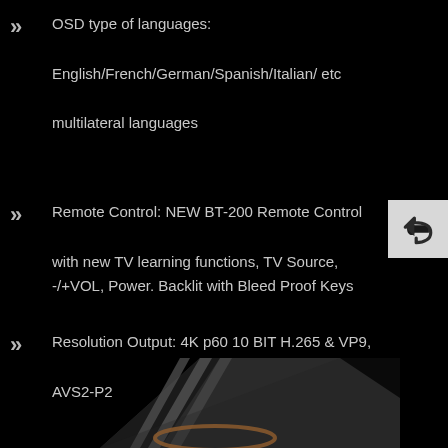OSD type of languages: English/French/German/Spanish/Italian/ etc multilateral languages
Remote Control: NEW BT-200 Remote Control with new TV learning functions, TV Source, -/+VOL, Power. Backlit with Bleed Proof Keys
Resolution Output: 4K p60 10 BIT H.265 & VP9, AVS2-P2
Power Supply: 12V 1.5A
[Figure (photo): Product photo of a dark/black media device with angular metallic design and copper accent, partially visible at the bottom of the page]